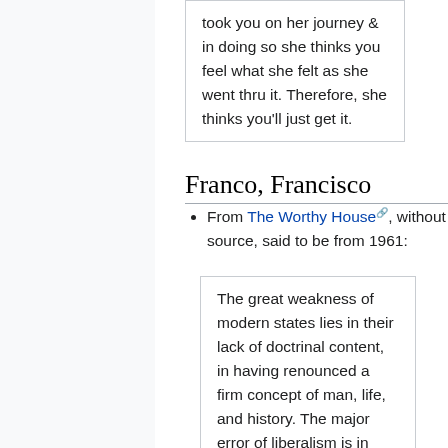took you on her journey & in doing so she thinks you feel what she felt as she went thru it. Therefore, she thinks you'll just get it.
Franco, Francisco
From The Worthy House, without source, said to be from 1961:
The great weakness of modern states lies in their lack of doctrinal content, in having renounced a firm concept of man, life, and history. The major error of liberalism is in